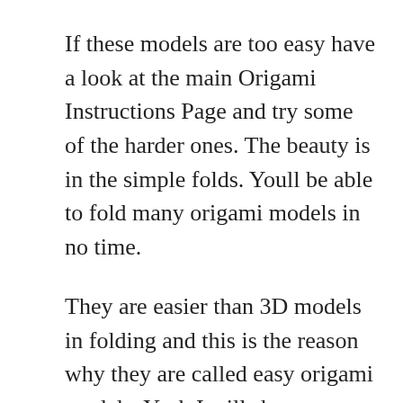If these models are too easy have a look at the main Origami Instructions Page and try some of the harder ones. The beauty is in the simple folds. Youll be able to fold many origami models in no time.
They are easier than 3D models in folding and this is the reason why they are called easy origami models. Yeah I will show y. EASY ORIGAMI ICE CREAM CONE – SIMPLE ORIGAMI FOR KIDS shortsLets make a delicious ice cream.
These are beyond cute arent they. 15 x 15 75 x